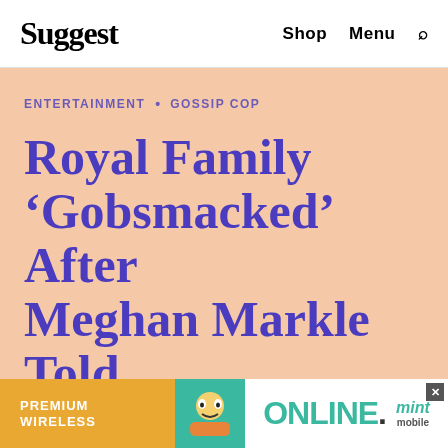Suggest   Shop   Menu
ENTERTAINMENT • GOSSIP COP
Royal Family ‘Gobsmacked’ After Meghan Markle Told Queen Elizabeth ‘You’ll Never See Archie Again’
[Figure (screenshot): Advertisement banner for Mint Mobile featuring 'PREMIUM WIRELESS' text on orange background, cartoon character, and 'ONLINE.' text in teal on white background with Mint Mobile logo]